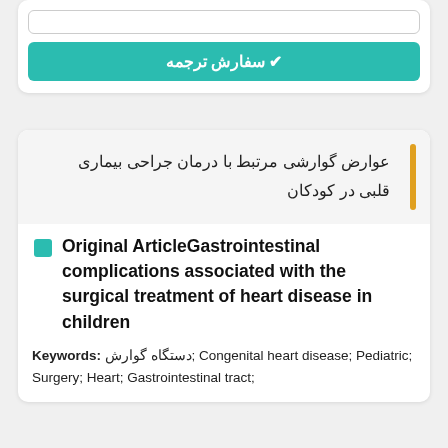[Figure (screenshot): Input text field (partially visible at top)]
✔ سفارش ترجمه
عوارض گوارشی مرتبط با درمان جراحی بیماری قلبی در کودکان
Original ArticleGastrointestinal complications associated with the surgical treatment of heart disease in children
Keywords: دستگاه گوارش; Congenital heart disease; Pediatric; Surgery; Heart; Gastrointestinal tract;